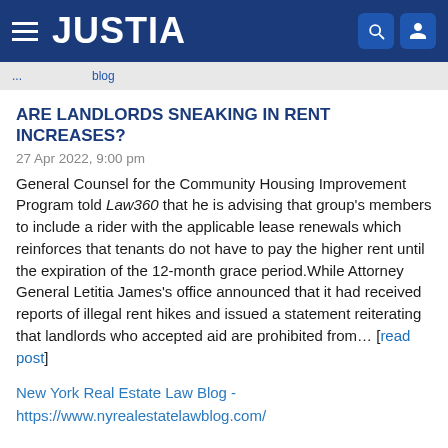JUSTIA
ARE LANDLORDS SNEAKING IN RENT INCREASES?
27 Apr 2022, 9:00 pm
General Counsel for the Community Housing Improvement Program told Law360 that he is advising that group's members to include a rider with the applicable lease renewals which reinforces that tenants do not have to pay the higher rent until the expiration of the 12-month grace period.While Attorney General Letitia James's office announced that it had received reports of illegal rent hikes and issued a statement reiterating that landlords who accepted aid are prohibited from... [read post]
New York Real Estate Law Blog - https://www.nyrealestatelawblog.com/